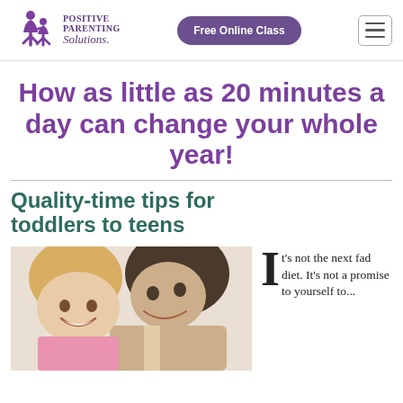Positive Parenting Solutions | Free Online Class
How as little as 20 minutes a day can change your whole year!
Quality-time tips for toddlers to teens
[Figure (photo): A smiling young blonde girl and a woman (mother) looking at each other affectionately]
It's not the next fad diet. It's not a promise to yourself to...